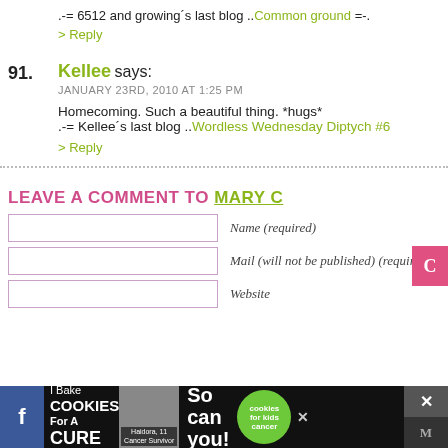.-= 6512 and growing's last blog ..Common ground =-.
> Reply
91. Kellee says: JANUARY 23RD, 2010 AT 1:25 PM
Homecoming. Such a beautiful thing. *hugs* .-= Kellee's last blog ..Wordless Wednesday Diptych #6
> Reply
LEAVE A COMMENT TO MARY C
Name (required)
Mail (will not be published) (required)
Website
[Figure (other): Advertisement banner: I Bake COOKIES For A CURE, Haidora 11 Cancer Survivor, So can you!, cookies for kids cancer]